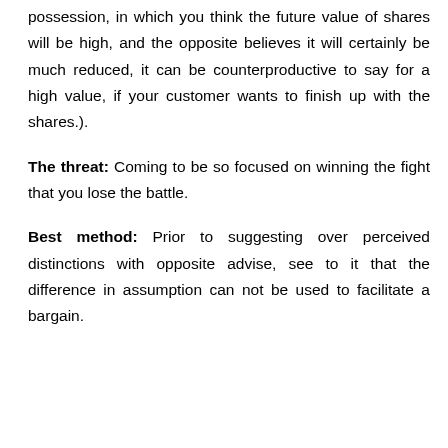possession, in which you think the future value of shares will be high, and the opposite believes it will certainly be much reduced, it can be counterproductive to say for a high value, if your customer wants to finish up with the shares.).
The threat: Coming to be so focused on winning the fight that you lose the battle.
Best method: Prior to suggesting over perceived distinctions with opposite advise, see to it that the difference in assumption can not be used to facilitate a bargain.